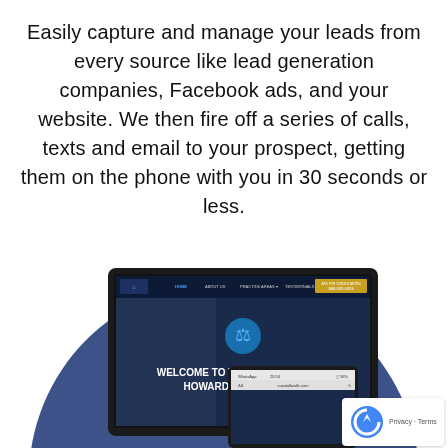Easily capture and manage your leads from every source like lead generation companies, Facebook ads, and your website. We then fire off a series of calls, texts and email to your prospect, getting them on the phone with you in 30 seconds or less.
[Figure (screenshot): Screenshot of a law firm website 'Welcome to the Law Office of Howard A. Goldstein' shown on a laptop and mobile device, with a blue circular background element. A reCAPTCHA badge is visible in the bottom right corner.]